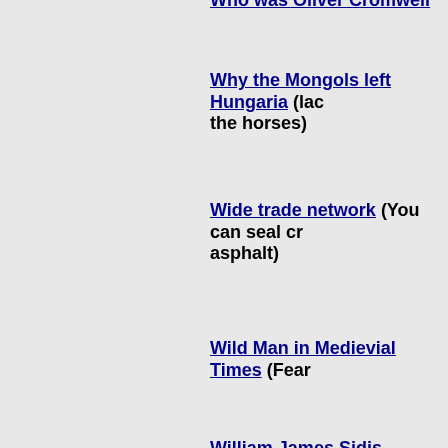Who was Oliver Cromwell
Why the Mongols left Hungaria (lack... the horses)
Wide trade network (You can seal cr... asphalt)
Wild Man in Medievial Times (Fear...
William James Sidis
William Penn, George Fox et al.
Winds favoured Polynesian migratio...
World War I and the Middle East
Wreck of a 700 year old chinese ship... river boat?)
Wuyuan